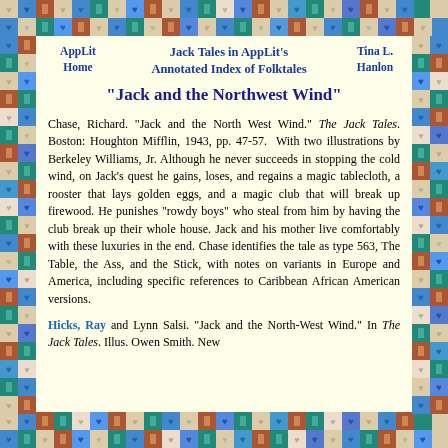AppLit Home | Jack Tales in AppLit's Annotated Index of Folktales | Tina L. Hanlon
"Jack and the Northwest Wind"
Chase, Richard. "Jack and the North West Wind." The Jack Tales. Boston: Houghton Mifflin, 1943, pp. 47-57. With two illustrations by Berkeley Williams, Jr. Although he never succeeds in stopping the cold wind, on Jack's quest he gains, loses, and regains a magic tablecloth, a rooster that lays golden eggs, and a magic club that will break up firewood. He punishes "rowdy boys" who steal from him by having the club break up their whole house. Jack and his mother live comfortably with these luxuries in the end. Chase identifies the tale as type 563, The Table, the Ass, and the Stick, with notes on variants in Europe and America, including specific references to Caribbean African American versions.
Hicks, Ray and Lynn Salsi. "Jack and the North-West Wind." In The Jack Tales. Illus. Owen Smith. New